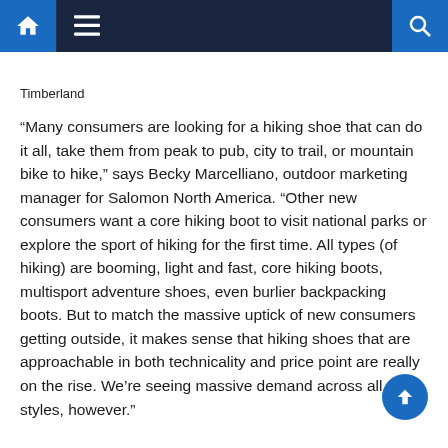Navigation bar with home, menu, and search icons
Timberland
“Many consumers are looking for a hiking shoe that can do it all, take them from peak to pub, city to trail, or mountain bike to hike,” says Becky Marcelliano, outdoor marketing manager for Salomon North America. “Other new consumers want a core hiking boot to visit national parks or explore the sport of hiking for the first time. All types (of hiking) are booming, light and fast, core hiking boots, multisport adventure shoes, even burlier backpacking boots. But to match the massive uptick of new consumers getting outside, it makes sense that hiking shoes that are approachable in both technicality and price point are really on the rise. We’re seeing massive demand across all styles, however.”